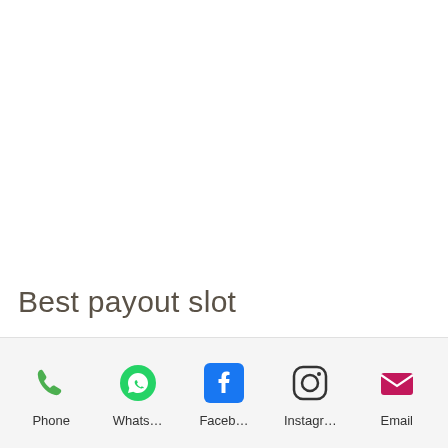Best payout slot
[Figure (infographic): Mobile share/contact bar with icons for Phone, WhatsApp, Facebook, Instagram, and Email]